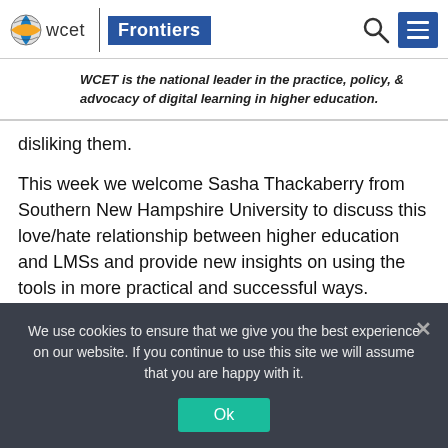[Figure (logo): WCET Frontiers logo with globe icon, 'wcet' text, vertical divider, and 'Frontiers' in blue box. Search icon and blue menu icon on the right.]
WCET is the national leader in the practice, policy, & advocacy of digital learning in higher education.
disliking them.
This week we welcome Sasha Thackaberry from Southern New Hampshire University to discuss this love/hate relationship between higher education and LMSs and provide new insights on using the tools in more practical and successful ways.
Enjoy the read!
We use cookies to ensure that we give you the best experience on our website. If you continue to use this site we will assume that you are happy with it.